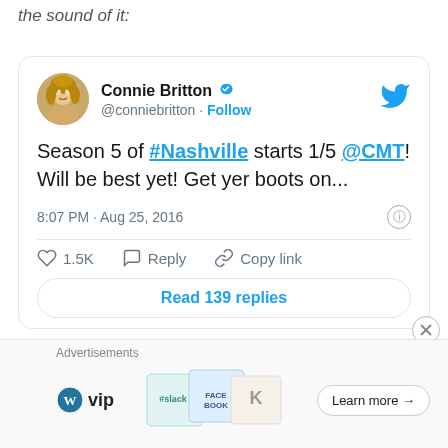the sound of it:
[Figure (screenshot): Embedded tweet from @conniebritton (Connie Britton, verified) reading: 'Season 5 of #Nashville starts 1/5 @CMT! Will be best yet! Get yer boots on...' posted at 8:07 PM · Aug 25, 2016. Shows 1.5K likes, Reply, Copy link actions, and a 'Read 139 replies' button.]
Advertisements
[Figure (screenshot): Advertisement banner with WordPress VIP logo on the left, colorful cards in the middle (showing Slack, Facebook branding), and a 'Learn more →' button on the right.]